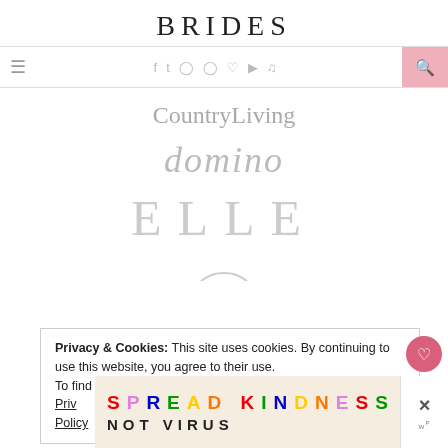BRIDES
[Figure (logo): Navigation bar with hamburger menu, social icons (Facebook, Twitter, Instagram, Pinterest, heart, YouTube, RSS), and pink search button]
[Figure (logo): CountryLiving magazine logo in gray serif font]
[Figure (logo): domino magazine logo in gray serif font]
[Figure (logo): ELLE magazine logo in large gray serif font with wide letter-spacing]
Privacy & Cookies: This site uses cookies. By continuing to use this website, you agree to their use.
To find out more, including how to control cookies, see here: Privacy Policy
[Figure (infographic): SPREAD KINDNESS NOT VIRUS colorful advertisement banner with close X button]